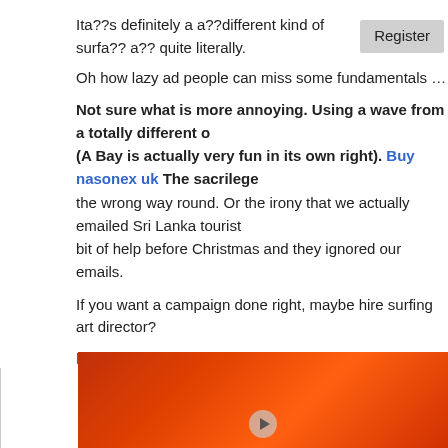Ita??s definitely a a??different kind of surfa?? a?? quite literally. [Register button]
Oh how lazy ad people can miss some fundamentals a?? thought I would shar
Not sure what is more annoying. Using a wave from a totally different o (A Bay is actually very fun in its own right). Buy nasonex uk The sacrilege the wrong way round. Or the irony that we actually emailed Sri Lanka tourist bit of help before Christmas and they ignored our emails.
If you want a campaign done right, maybe hire surfing art director?
http://www.carvemag.com/2017/03/sri-lanka-tourism-board-fail/#.WMzTHmxuV
Tripping. On a small road to Arugam
Published on 05/10/2016 in AbTa News, From our own Correspondent, front page, Humour, Sh over Ideas and Traveler's Reports. 0 Comments
video-bus Protonix 20 mg price Amantadine generic name How much does fo bone density
[Figure (photo): Red/orange abstract image with a play button at the bottom, partially visible at the bottom of the page]